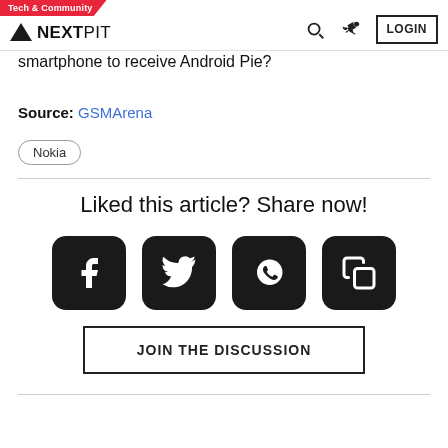Tech & Community | NEXTPIT | LOGIN
smartphone to receive Android Pie?
Source: GSMArena
Nokia
Liked this article? Share now!
[Figure (infographic): Four social share buttons: Facebook, Twitter, WhatsApp, Copy]
JOIN THE DISCUSSION